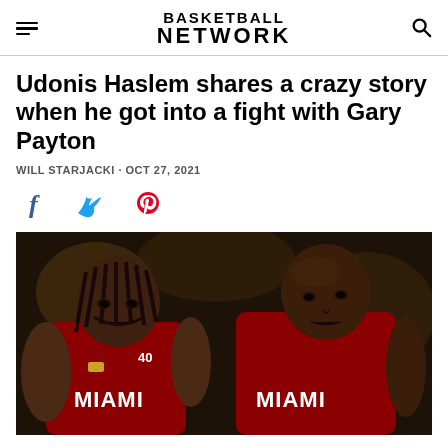BASKETBALL NETWORK
Udonis Haslem shares a crazy story when he got into a fight with Gary Payton
WILL STARJACKI · OCT 27, 2021
[Figure (other): Social media share icons: Facebook, Twitter, Pinterest]
[Figure (photo): Two Miami Heat basketball players in red Miami jerseys standing on a basketball court, one with braids and one with a shaved head]